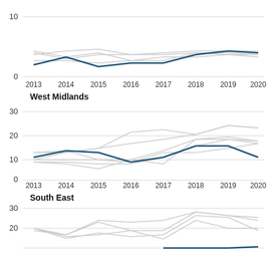[Figure (line-chart): (top chart - partial, no region label visible)]
[Figure (line-chart): West Midlands]
[Figure (line-chart): South East]